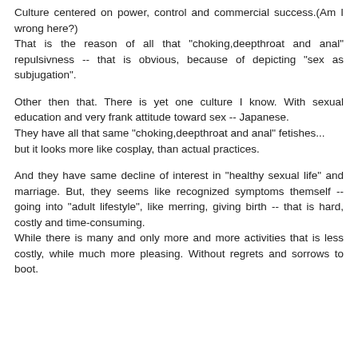Culture centered on power, control and commercial success.(Am I wrong here?) That is the reason of all that "choking,deepthroat and anal" repulsivness -- that is obvious, because of depicting "sex as subjugation".
Other then that. There is yet one culture I know. With sexual education and very frank attitude toward sex -- Japanese. They have all that same "choking,deepthroat and anal" fetishes... but it looks more like cosplay, than actual practices.
And they have same decline of interest in "healthy sexual life" and marriage. But, they seems like recognized symptoms themself -- going into "adult lifestyle", like merring, giving birth -- that is hard, costly and time-consuming. While there is many and only more and more activities that is less costly, while much more pleasing. Without regrets and sorrows to boot.